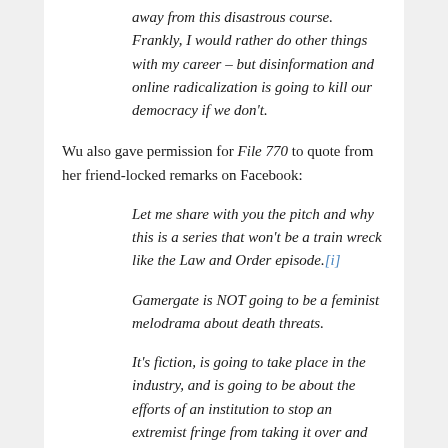away from this disastrous course. Frankly, I would rather do other things with my career – but disinformation and online radicalization is going to kill our democracy if we don't.
Wu also gave permission for File 770 to quote from her friend-locked remarks on Facebook:
Let me share with you the pitch and why this is a series that won't be a train wreck like the Law and Order episode.[i]
Gamergate is NOT going to be a feminist melodrama about death threats.
It's fiction, is going to take place in the industry, and is going to be about the efforts of an institution to stop an extremist fringe from taking it over and how it fails. KIND OF RELEVANT, RIGHT?